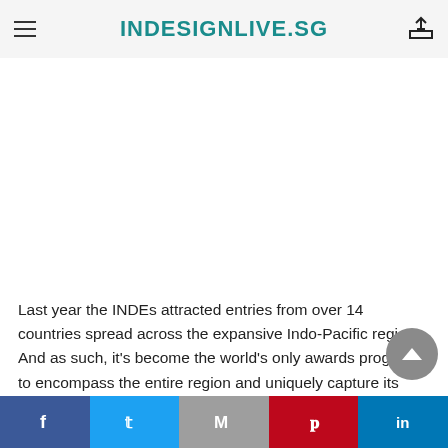INDESIGNLIVE.SG
[Figure (other): White advertisement/image placeholder area]
Last year the INDEs attracted entries from over 14 countries spread across the expansive Indo-Pacific region. And as such, it's become the world's only awards program to encompass the entire region and uniquely capture its progressive and intuitive design vernacular.
Entries are currently open for the INDE Awards and we
Facebook | Twitter | Gmail | Pinterest | LinkedIn share bar